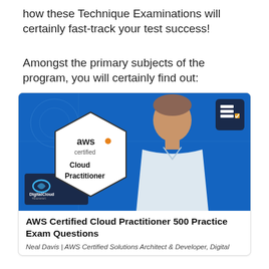how these Technique Examinations will certainly fast-track your test success!
Amongst the primary subjects of the program, you will certainly find out:
[Figure (photo): AWS Certified Cloud Practitioner course thumbnail showing a man in a white shirt smiling, with an AWS Certified Cloud Practitioner hexagonal badge on a blue background, DigitalCloud Training logo in the bottom left, and a checklist icon in the top right.]
AWS Certified Cloud Practitioner 500 Practice Exam Questions
Neal Davis | AWS Certified Solutions Architect & Developer, Digital